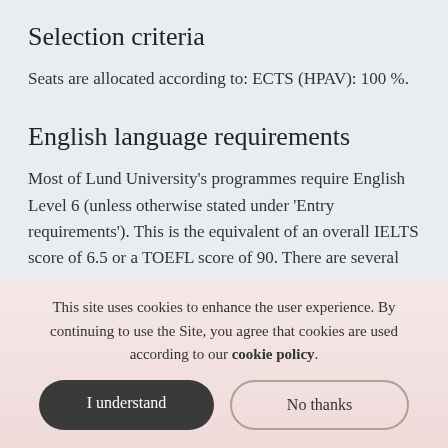Selection criteria
Seats are allocated according to: ECTS (HPAV): 100 %.
English language requirements
Most of Lund University's programmes require English Level 6 (unless otherwise stated under 'Entry requirements'). This is the equivalent of an overall IELTS score of 6.5 or a TOEFL score of 90. There are several ways to prove your English language proficiency – check which proof is accepted at the University Admissions in Sweden website. All students must prove they meet
This site uses cookies to enhance the user experience. By continuing to use the Site, you agree that cookies are used according to our cookie policy.